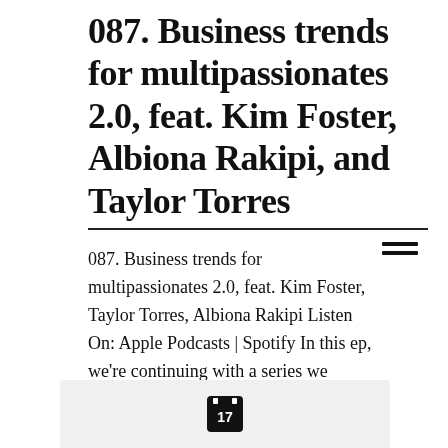087. Business trends for multipassionates 2.0, feat. Kim Foster, Albiona Rakipi, and Taylor Torres
087. Business trends for multipassionates 2.0, feat. Kim Foster, Taylor Torres, Albiona Rakipi Listen On: Apple Podcasts | Spotify In this ep, we're continuing with a series we started back on ep 071 called BUSINESS TRENDS FOR MULTIPASSIONATES. In this series, we're focusing on marketing & branding strategies, industry
[Figure (other): Calendar icon showing the number 17]